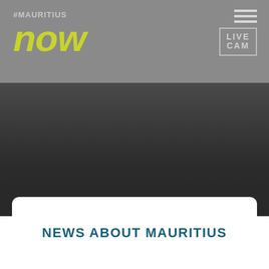[Figure (logo): #MAURITIUS now logo with hashtag in light gray and 'now' in bold yellow-green italic text on gray background]
[Figure (logo): LIVE CAM icon with hamburger menu lines above a bordered box containing LIVE CAM text in gray]
NEWS ABOUT MAURITIUS